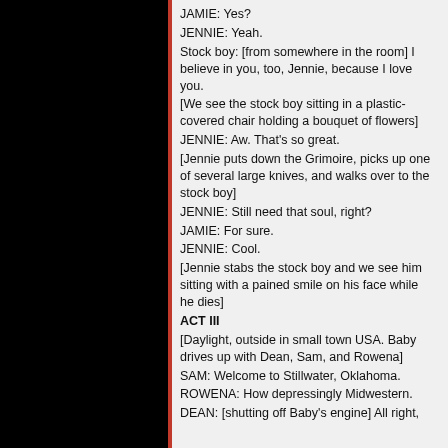JAMIE: Yes?
JENNIE: Yeah.
Stock boy: [from somewhere in the room] I believe in you, too, Jennie, because I love you.
[We see the stock boy sitting in a plastic-covered chair holding a bouquet of flowers]
JENNIE: Aw. That's so great.
[Jennie puts down the Grimoire, picks up one of several large knives, and walks over to the stock boy]
JENNIE: Still need that soul, right?
JAMIE: For sure.
JENNIE: Cool.
[Jennie stabs the stock boy and we see him sitting with a pained smile on his face while he dies]
ACT III
[Daylight, outside in small town USA. Baby drives up with Dean, Sam, and Rowena]
SAM: Welcome to Stillwater, Oklahoma.
ROWENA: How depressingly Midwestern.
DEAN: [shutting off Baby's engine] All right, Dad. Where to?